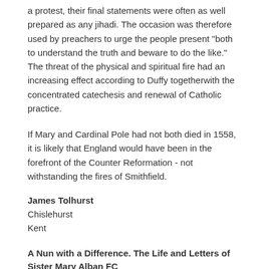a protest, their final statements were often as well prepared as any jihadi. The occasion was therefore used by preachers to urge the people present "both to understand the truth and beware to do the like." The threat of the physical and spiritual fire had an increasing effect according to Duffy togetherwith the concentrated catechesis and renewal of Catholic practice.
If Mary and Cardinal Pole had not both died in 1558, it is likely that England would have been in the forefront of the Counter Reformation - not withstanding the fires of Smithfield.
James Tolhurst
Chislehurst
Kent
A Nun with a Difference. The Life and Letters of Sister Mary Alban FC
by Joanna Bogle, Sun Hill Publishing, 260pp, £8.88 (available at CTS Bookshop at Westminster Cathedral & Brompton Oratory Bookshop)